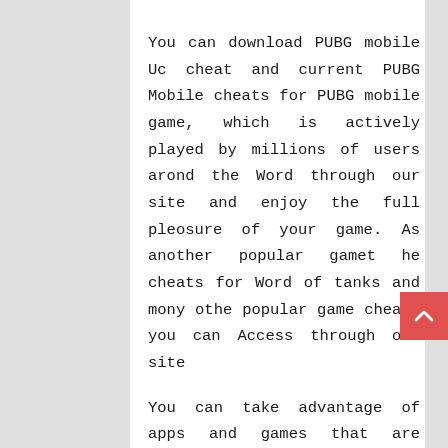You can download PUBG mobile Uc cheat and current PUBG Mobile cheats for PUBG mobile game, which is actively played by millions of users arond the Word through our site and enjoy the full pleosure of your game. As another popular gamet he cheats for Word of tanks and mony othe popular game cheats you can Access through our site
You can take advantage of apps and games that are fraudulently shared on our platform.